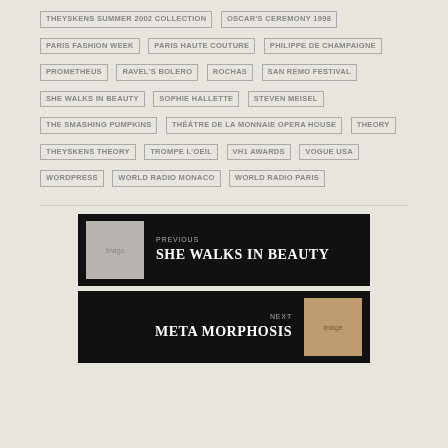THEYSKENS SUMMER 2002 COLLECTION | OSCAR'S CEREMONY 1998 | PARIS FASHION WEEK | PARIS HAUTE COUTURE | PHILIPPE DE CHAMPAIGNE | PROMETHEUS | RAVEL'S BOLERO | ROCHAS | SAN REMO FESTIVAL | SHE WALKS IN BEAUTY | SOPHIE HALLETTE | STEVEN MEISEL | THE SMASHING PUMPKINS | THÉÂTRE DE LA MONNAIE OPERA HOUSE | THEORY | THEYSKENS THEORY | TROMPE L'OEIL | VH1 AWARDS | VOGUE USA | WORDPRESS | WORLD RADIO MONACO | WORLD RADIO PARIS
[Figure (photo): Previous navigation block with thumbnail image - She Walks in Beauty]
[Figure (photo): Next navigation block with thumbnail image - Meta Morphosis]